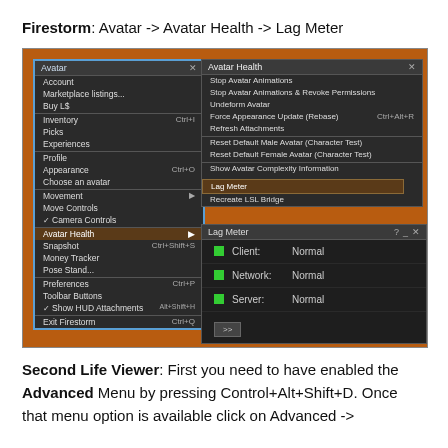Firestorm: Avatar -> Avatar Health -> Lag Meter
[Figure (screenshot): Screenshot of Firestorm viewer showing Avatar menu open with Avatar Health highlighted, Avatar Health submenu open with Lag Meter highlighted, and the Lag Meter dialog showing Client: Normal, Network: Normal, Server: Normal]
Second Life Viewer: First you need to have enabled the Advanced Menu by pressing Control+Alt+Shift+D. Once that menu option is available click on Advanced ->